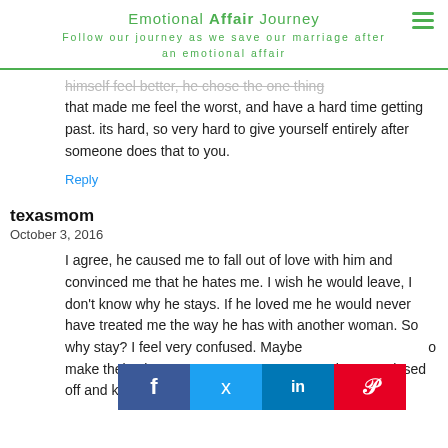Emotional Affair Journey — Follow our journey as we save our marriage after an emotional affair
himself feel better, he chose the one thing that made me feel the worst, and have a hard time getting past. its hard, so very hard to give yourself entirely after someone does that to you.
Reply
texasmom
October 3, 2016
I agree, he caused me to fall out of love with him and convinced me that he hates me. I wish he would leave, I don't know why he stays. If he loved me he would never have treated me the way he has with another woman. So why stay? I feel very confused. Maybe [social bar overlay] o make their wives [social bar overlay] re not, they get pissed off and keep taking it to new